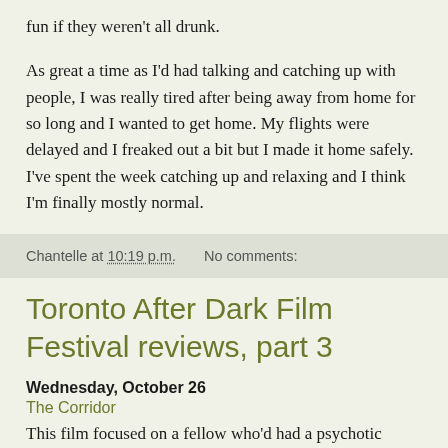fun if they weren't all drunk.
As great a time as I'd had talking and catching up with people, I was really tired after being away from home for so long and I wanted to get home. My flights were delayed and I freaked out a bit but I made it home safely. I've spent the week catching up and relaxing and I think I'm finally mostly normal.
Chantelle at 10:19 p.m.    No comments:
Toronto After Dark Film Festival reviews, part 3
Wednesday, October 26
The Corridor
This film focused on a fellow who'd had a psychotic break after his mother died and who got together with his friends at his mother's cabin in the woods to say goodbye to her and to reconnect with his